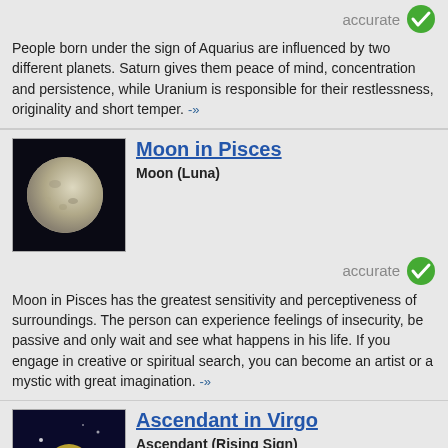People born under the sign of Aquarius are influenced by two different planets. Saturn gives them peace of mind, concentration and persistence, while Uranium is responsible for their restlessness, originality and short temper. -»
Moon in Pisces
Moon (Luna)
Moon in Pisces has the greatest sensitivity and perceptiveness of surroundings. The person can experience feelings of insecurity, be passive and only wait and see what happens in his life. If you engage in creative or spiritual search, you can become an artist or a mystic with great imagination. -»
Ascendant in Virgo
Ascendant (Rising Sign)
People with Virgo Ascendant develop the best through spiritual analysis, discernment and self-criticism. Application of knowledge must be appropriate and